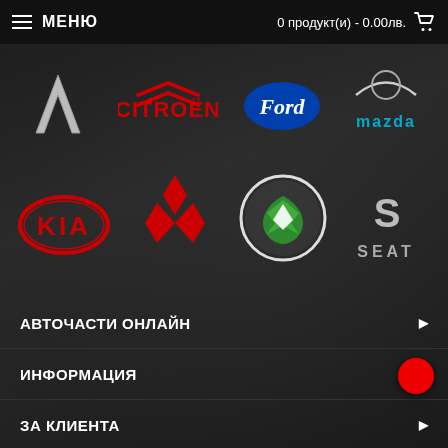МЕНЮ  |  0 продукт(и) - 0.00лв.
[Figure (logo): Car brand logos row 1: Vauxhall/Chevrolet V logo, Citroën logo, Ford logo, Mazda logo (partial)]
[Figure (logo): Car brand logos row 2: KIA logo (red oval), Mitsubishi logo (red diamonds), Škoda logo (green winged badge in circle), SEAT logo]
АВТОЧАСТИ ОНЛАЙН
ИНФОРМАЦИЯ
ЗА КЛИЕНТА
ЗА КОНТАКТИ
БЮЛЕТИН